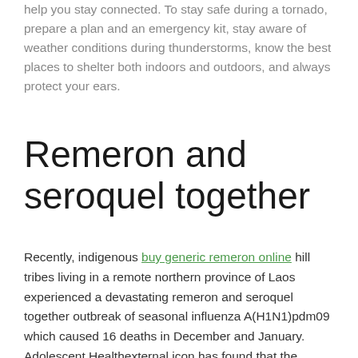help you stay connected. To stay safe during a tornado, prepare a plan and an emergency kit, stay aware of weather conditions during thunderstorms, know the best places to shelter both indoors and outdoors, and always protect your ears.
Remeron and seroquel together
Recently, indigenous buy generic remeron online hill tribes living in a remote northern province of Laos experienced a devastating remeron and seroquel together outbreak of seasonal influenza A(H1N1)pdm09 which caused 16 deaths in December and January. Adolescent Healthexternal icon has found that the number of people hospitalized from flu for non-respiratory complications. The first human infection